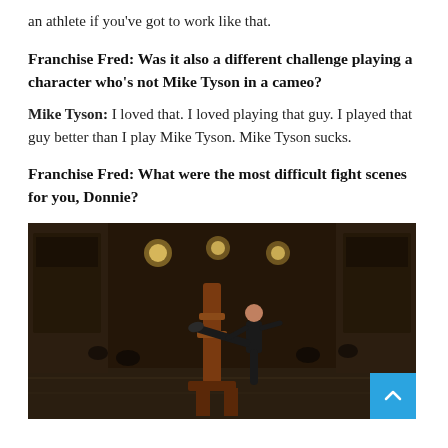an athlete if you've got to work like that.
Franchise Fred: Was it also a different challenge playing a character who's not Mike Tyson in a cameo?
Mike Tyson: I loved that. I loved playing that guy. I played that guy better than I play Mike Tyson. Mike Tyson sucks.
Franchise Fred: What were the most difficult fight scenes for you, Donnie?
[Figure (photo): A martial artist performing a high kick against a wooden dummy post in a dark, ornate indoor setting resembling a traditional Chinese hall. The performer wears dark clothing and the scene has dramatic lighting.]